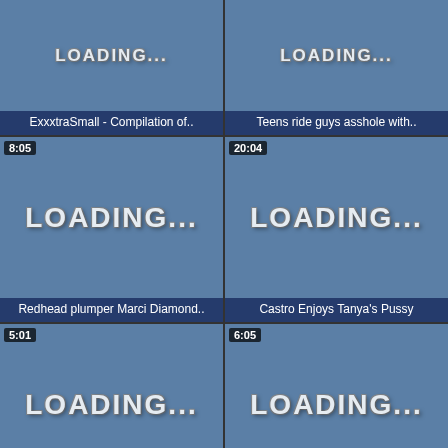[Figure (screenshot): Video thumbnail loading placeholder for ExxxtraSmall - Compilation of..]
[Figure (screenshot): Video thumbnail loading placeholder for Teens ride guys asshole with..]
[Figure (screenshot): Video thumbnail loading placeholder 8:05 for Redhead plumper Marci Diamond..]
[Figure (screenshot): Video thumbnail loading placeholder 20:04 for Castro Enjoys Tanya's Pussy]
[Figure (screenshot): Video thumbnail loading placeholder 5:01 for Hot Latina MILF Destiny Gets Anal..]
[Figure (screenshot): Video thumbnail loading placeholder 6:05 for Brunette Ada gets a warm pussy Cream]
Related: Big Boobs | Big Tits | Huge Boobs | Busty Teen | Busty Mature | Busty Bbw | Black Busty | Busty Ebony